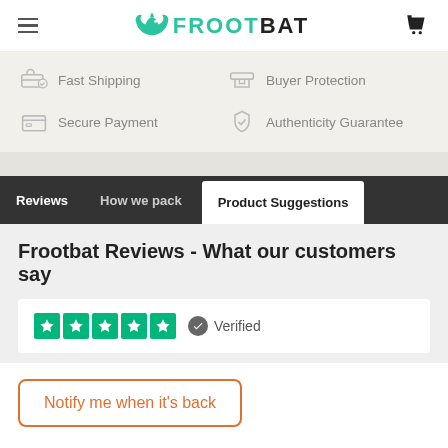FROOTBAT
Fast Shipping
Buyer Protection
Secure Payment
Authenticity Guarantee
Reviews
How we pack
Product Suggestions
Frootbat Reviews - What our customers say
Verified
Notify me when it's back